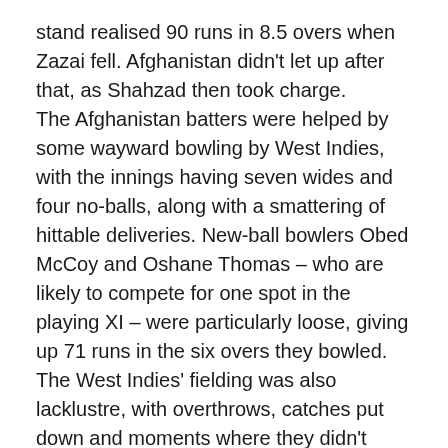stand realised 90 runs in 8.5 overs when Zazai fell. Afghanistan didn't let up after that, as Shahzad then took charge.
The Afghanistan batters were helped by some wayward bowling by West Indies, with the innings having seven wides and four no-balls, along with a smattering of hittable deliveries. New-ball bowlers Obed McCoy and Oshane Thomas – who are likely to compete for one spot in the playing XI – were particularly loose, giving up 71 runs in the six overs they bowled. The West Indies' fielding was also lacklustre, with overthrows, catches put down and moments where they didn't commit fully to chasing or stopping the ball – perhaps mindful of any injury possibilities.
Afghanistan's momentum slowed only after both openers had gone, with West Indies slowing things up...